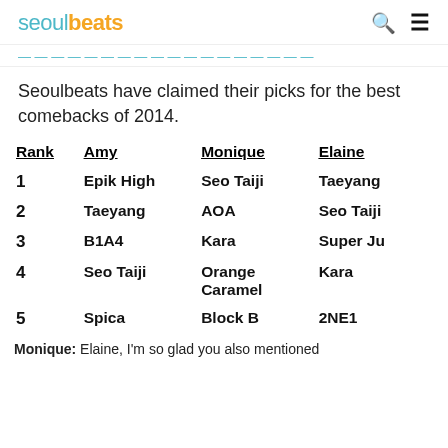seoulbeats
Seoulbeats have claimed their picks for the best comebacks of 2014.
| Rank | Amy | Monique | Elaine |
| --- | --- | --- | --- |
| 1 | Epik High | Seo Taiji | Taeyang |
| 2 | Taeyang | AOA | Seo Taiji |
| 3 | B1A4 | Kara | Super Ju |
| 4 | Seo Taiji | Orange Caramel | Kara |
| 5 | Spica | Block B | 2NE1 |
Monique: Elaine, I'm so glad you also mentioned